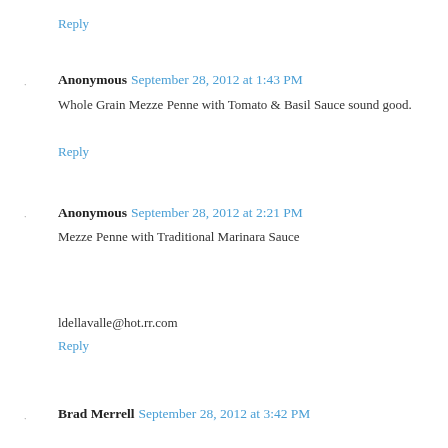Reply
Anonymous  September 28, 2012 at 1:43 PM
Whole Grain Mezze Penne with Tomato & Basil Sauce sound good.
Reply
Anonymous  September 28, 2012 at 2:21 PM
Mezze Penne with Traditional Marinara Sauce
ldellavalle@hot.rr.com
Reply
Brad Merrell  September 28, 2012 at 3:42 PM